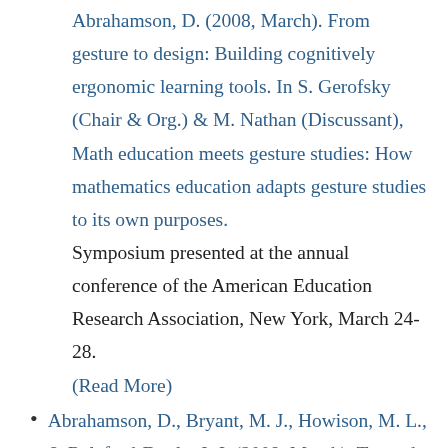Abrahamson, D. (2008, March). From gesture to design: Building cognitively ergonomic learning tools. In S. Gerofsky (Chair & Org.) & M. Nathan (Discussant), Math education meets gesture studies: How mathematics education adapts gesture studies to its own purposes.
Symposium presented at the annual conference of the American Education Research Association, New York, March 24-28.
(Read More)
Abrahamson, D., Bryant, M. J., Howison, M. L., & Relaford-Doyle, J. J. (2008, March). Toward a phenomenology of mathematical artifacts: A circumspective deconstruction of a design for the binomial.
Paper presented at the annual conference of the American Education Research Association, New York,